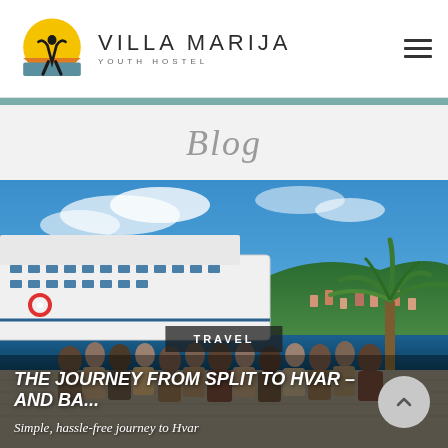[Figure (logo): Villa Marija Youth Hostel logo with sun/silhouette icon and text]
Villa Marija Youth Hostel
Blog
[Figure (photo): Busy harbor scene with a large white ferry/catamaran docked, crowds of tourists walking along a promenade lined with palm trees, blue sky with light clouds, hillside town in the background]
TRAVEL
THE JOURNEY FROM SPLIT TO HVAR – AND BA...
Simple, hassle-free journey to Hvar